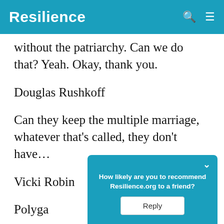Resilience
without the patriarchy. Can we do that? Yeah. Okay, thank you.
Douglas Rushkoff
Can they keep the multiple marriage, whatever that's called, they don't have...
Vicki Robin
Polyga... s,
[Figure (screenshot): Popup overlay asking 'How likely are you to recommend Resilience.org to a friend?' with a Reply button]